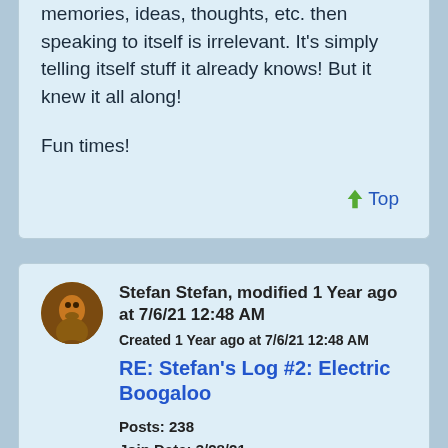memories, ideas, thoughts, etc. then speaking to itself is irrelevant. It's simply telling itself stuff it already knows! But it knew it all along!

Fun times!
↑ Top
Stefan Stefan, modified 1 Year ago at 7/6/21 12:48 AM
Created 1 Year ago at 7/6/21 12:48 AM
RE: Stefan's Log #2: Electric Boogaloo
Posts: 238
Join Date: 3/28/21
Recent Posts